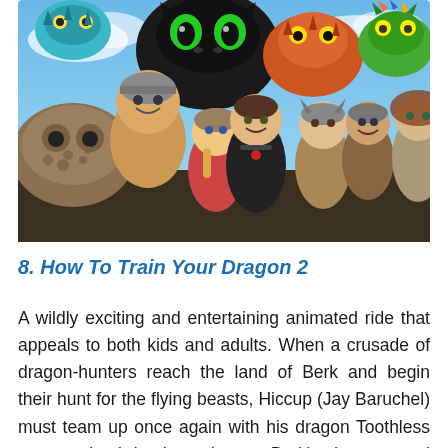[Figure (illustration): Promotional image from How To Train Your Dragon 2 animated film showing a group of characters including dragons and Viking characters posed together against a blue sky background. Central character Hiccup in black armor, with the black dragon Toothless above, surrounded by other dragons (blue, orange-red, green) and Viking characters.]
8. How To Train Your Dragon 2
A wildly exciting and entertaining animated ride that appeals to both kids and adults. When a crusade of dragon-hunters reach the land of Berk and begin their hunt for the flying beasts, Hiccup (Jay Baruchel) must team up once again with his dragon Toothless to stop the brigade and save Berk's dragons and dragon riders. Written and